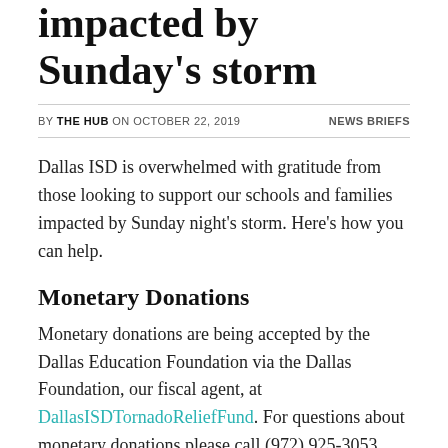impacted by Sunday's storm
BY THE HUB ON OCTOBER 22, 2019    NEWS BRIEFS
Dallas ISD is overwhelmed with gratitude from those looking to support our schools and families impacted by Sunday night's storm. Here's how you can help.
Monetary Donations
Monetary donations are being accepted by the Dallas Education Foundation via the Dallas Foundation, our fiscal agent, at DallasISDTornadoReliefFund. For questions about monetary donations please call (972) 925-3053.